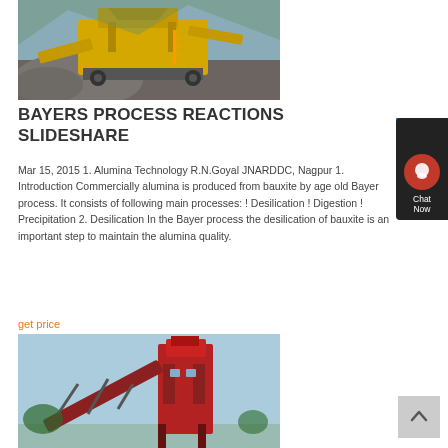[Figure (photo): Yellow heavy mining/crushing machinery with large rock pile, outdoor industrial setting]
BAYERS PROCESS REACTIONS SLIDESHARE
Mar 15, 2015 1. Alumina Technology R.N.Goyal JNARDDC, Nagpur 1. Introduction Commercially alumina is produced from bauxite by age old Bayer process. It consists of following main processes: ! Desilication ! Digestion ! Precipitation 2. Desilication In the Bayer process the desilication of bauxite is an important step to maintain the alumina quality.
get price
[Figure (photo): Red industrial conveyor belt and processing machinery structure against blue sky]